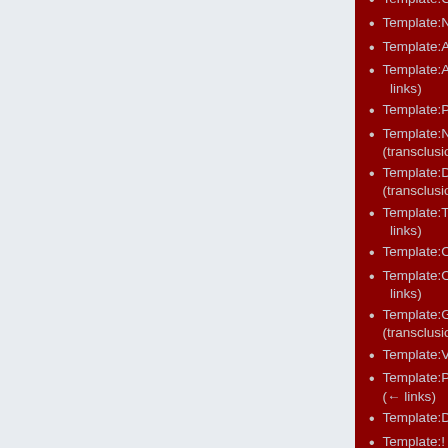Template:Citation error (transclusion) (← links)
Template:Nts (transclusion) (← links)
Template:Age (transclusion) (← links)
Template:Age in days (transclusion) (← links)
Template:Para (transclusion) (← links)
Template:Namespace detect showall (transclusion) (← links)
Template:Documentation/links (transclusion) (← links)
Template:Template other (transclusion) (← links)
Template:Ombox (transclusion) (← links)
Template:Ombox/core (transclusion) (← links)
Template:Gregorian serial date (transclusion) (← links)
Template:Void (transclusion) (← links)
Template:PhysicsNavigation (transclusion) (← links)
Template:Dablink (transclusion) (← links)
Template:! (transclusion) (← links)